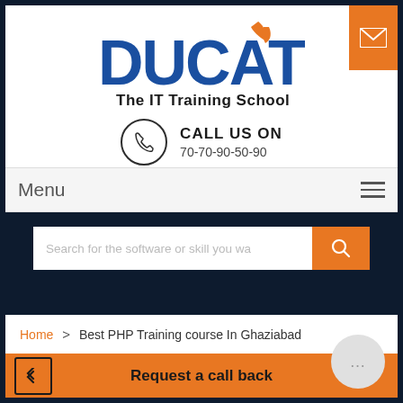[Figure (logo): DUCAT The IT Training School logo with orange bird/leaf icon and blue bold text]
CALL US ON
70-70-90-50-90
Menu
Search for the software or skill you wa
Home > Best PHP Training course In Ghaziabad
Request a call back